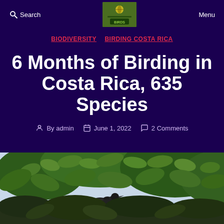Search  Menu
BIODIVERSITY  BIRDING COSTA RICA
6 Months of Birding in Costa Rica, 635 Species
By admin  June 1, 2022  2 Comments
[Figure (photo): A bird perched among green tropical tree branches and leaves, photographed in Costa Rica]